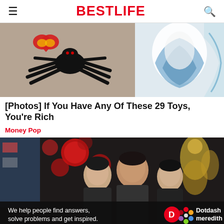BestLife
[Figure (photo): Two photos side by side: left shows a black Beanie Baby spider toy on a carpet with a red and yellow TY heart tag; right shows a blue and white ceramic or glass figurine.]
[Photos] If You Have Any Of These 29 Toys, You're Rich
Money Pop
[Figure (photo): Photo of three people (two younger individuals and one adult male in the center) in front of a backdrop with red ornaments/lights and golden figures. A Dotdash Meredith advertisement overlay appears at the bottom reading 'We help people find answers, solve problems and get inspired.']